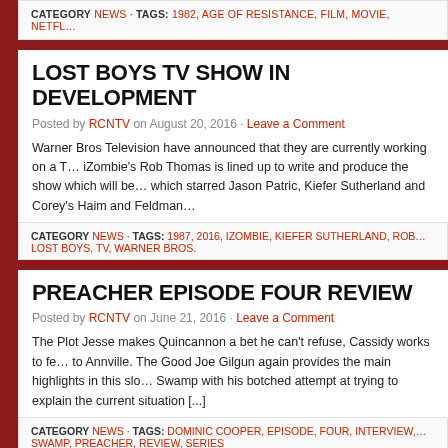CATEGORY NEWS · TAGS: 1982, AGE OF RESISTANCE, FILM, MOVIE, NETFL…
LOST BOYS TV SHOW IN DEVELOPMENT
Posted by RCNTV on August 20, 2016 · Leave a Comment
Warner Bros Television have announced that they are currently working on a T… iZombie's Rob Thomas is lined up to write and produce the show which will be… which starred Jason Patric, Kiefer Sutherland and Corey's Haim and Feldman…
CATEGORY NEWS · TAGS: 1987, 2016, IZOMBIE, KIEFER SUTHERLAND, ROB… LOST BOYS, TV, WARNER BROS.
PREACHER EPISODE FOUR REVIEW
Posted by RCNTV on June 21, 2016 · Leave a Comment
The Plot Jesse makes Quincannon a bet he can't refuse, Cassidy works to fe… to Annville. The Good Joe Gilgun again provides the main highlights in this slo… Swamp with his botched attempt at trying to explain the current situation [...]
CATEGORY NEWS · TAGS: DOMINIC COOPER, EPISODE, FOUR, INTERVIEW,… SWAMP, PREACHER, REVIEW, SERIES